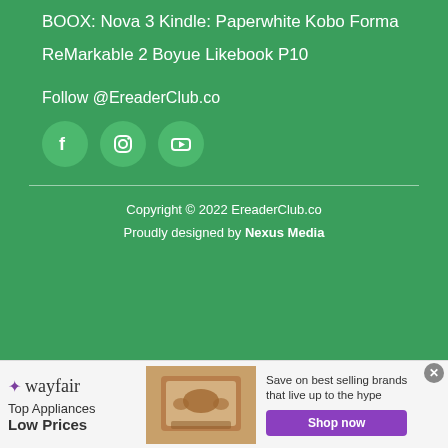BOOX: Nova 3
Kindle: Paperwhite
Kobo Forma
ReMarkable 2
Boyue Likebook P10
Follow @EreaderClub.co
[Figure (other): Social media icons: Facebook, Instagram, YouTube]
Copyright © 2022 EreaderClub.co
Proudly designed by Nexus Media
[Figure (other): Wayfair advertisement banner: Top Appliances Low Prices, Save on best selling brands that live up to the hype, Shop now button]